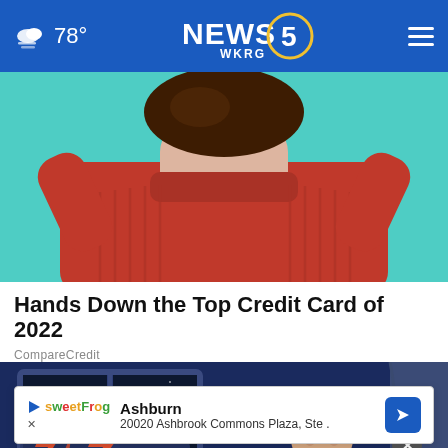NEWS 5 WKRG — 78°
[Figure (photo): Woman in red turtleneck sweater against teal background, cropped from shoulders up, hands raised]
Hands Down the Top Credit Card of 2022
CompareCredit
[Figure (illustration): Animated illustration of a man in white tank top looking at a stormy night sky with lightning bolts through a window]
[Figure (other): Ad banner: SweetFrog — Ashburn, 20020 Ashbrook Commons Plaza, Ste.]